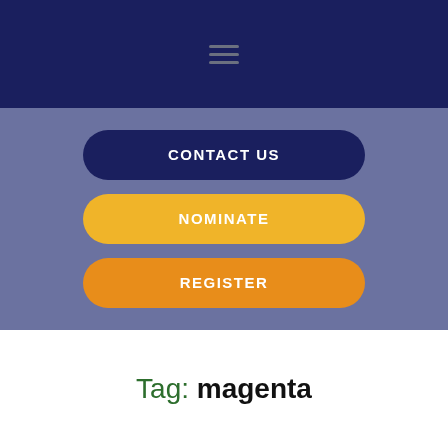Navigation menu (hamburger icon)
[Figure (screenshot): Navigation buttons: CONTACT US (navy), NOMINATE (yellow), REGISTER (orange) on blue-grey background]
Tag: magenta
JUNIOR FACULTY ADVISOR  STAFF
Maggie Attridge